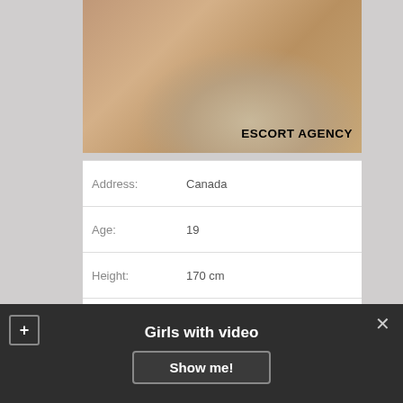[Figure (photo): Photo of legs/feet in heels on a beige upholstered chair with wooden frame, with 'ESCORT AGENCY' text overlay in bold black]
| Address: | Canada |
| Age: | 19 |
| Height: | 170 cm |
| WEIGHT: | 50 |
| Availability: | 10:00 – 20:00 |
| NIGHT: | 310$ |
Girls with video
Show me!